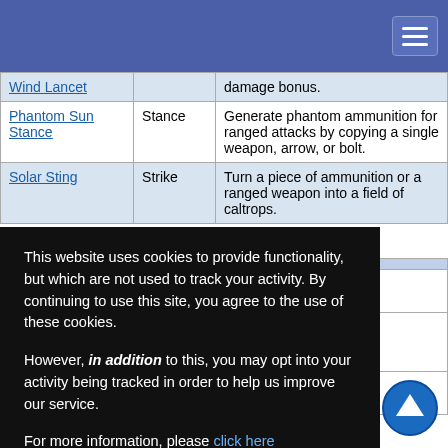Navigation header with hamburger menu
|  |  |  |
| --- | --- | --- |
| Wind Lancet |  | damage bonus. |
| Phantom Sun Stance | Stance | Generate phantom ammunition for ranged attacks by copying a single weapon, arrow, or bolt. |
| Solar Sting | Strike | Turn a piece of ammunition or a ranged weapon into a field of caltrops. |
Table: 2nd Level Solar Wind Maneuvers
|  |  |  |
| --- | --- | --- |
|  |  | mental ... ged combat. |
|  |  | attack against ... k against you or ... ss negates the |
|  |  | ack and add ... and ignore |
This website uses cookies to provide functionality, but which are not used to track your activity. By continuing to use this site, you agree to the use of these cookies.

However, in addition to this, you may opt into your activity being tracked in order to help us improve our service.

For more information, please click here
OK | No, thank you